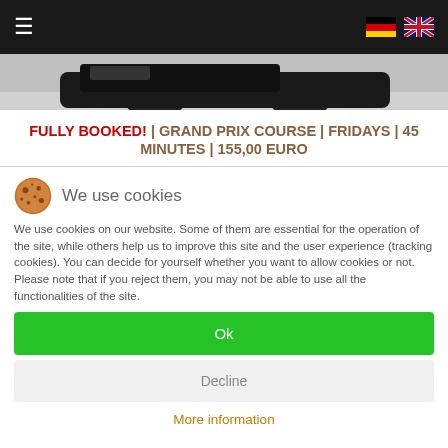Navigation header with hamburger menu and language flags (German, English)
[Figure (photo): Partial view of a race car on a track surface, cropped image showing lower portion of vehicle]
FULLY BOOKED! | GRAND PRIX COURSE | FRIDAYS | 45 MINUTES | 155,00 EURO
We use cookies
We use cookies on our website. Some of them are essential for the operation of the site, while others help us to improve this site and the user experience (tracking cookies). You can decide for yourself whether you want to allow cookies or not. Please note that if you reject them, you may not be able to use all the functionalities of the site.
Ok
Decline
More information